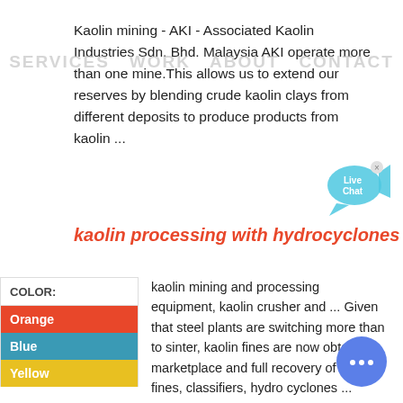Kaolin mining - AKI - Associated Kaolin Industries Sdn. Bhd. Malaysia AKI operate more than one mine.This allows us to extend our reserves by blending crude kaolin clays from different deposits to produce products from kaolin ...
SERVICES  WORK  ABOUT  CONTACT
[Figure (illustration): Live Chat speech bubble widget with fish icon and close button]
kaolin processing with hydrocyclones
| COLOR: |
| --- |
| Orange |
| Blue |
| Yellow |
kaolin mining and processing equipment, kaolin crusher and ... Given that steel plants are switching more than to sinter, kaolin fines are now obtaining marketplace and full recovery of these fines, classifiers, hydro cyclones ...
[Figure (illustration): Blue circular chat bubble widget with ellipsis icon]